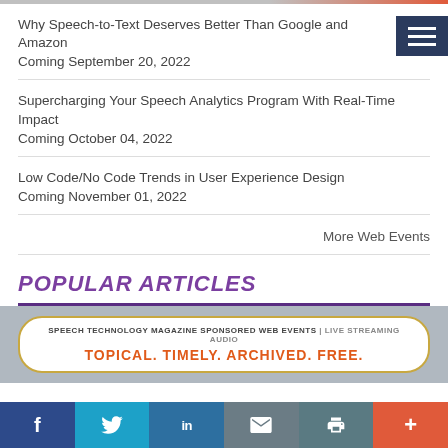Why Speech-to-Text Deserves Better Than Google and Amazon
Coming September 20, 2022
Supercharging Your Speech Analytics Program With Real-Time Impact
Coming October 04, 2022
Low Code/No Code Trends in User Experience Design
Coming November 01, 2022
More Web Events
POPULAR ARTICLES
[Figure (infographic): Speech Technology Magazine sponsored web events banner: 'TOPICAL. TIMELY. ARCHIVED. FREE.' with subtitle 'LIVE STREAMING AUDIO']
f  t  in  [mail]  [print]  +